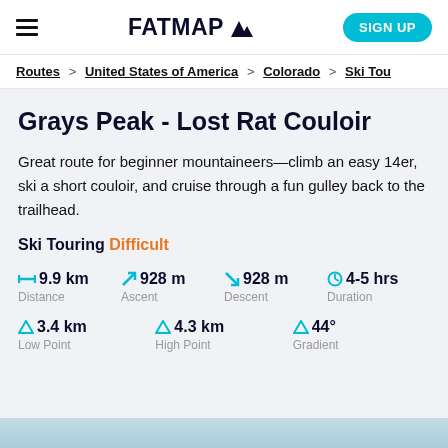FATMAP — Sign Up
Routes > United States of America > Colorado > Ski Tou...
Grays Peak - Lost Rat Couloir
Great route for beginner mountaineers—climb an easy 14er, ski a short couloir, and cruise through a fun gulley back to the trailhead.
Ski Touring Difficult
| Distance | Ascent | Descent | Duration |
| --- | --- | --- | --- |
| 9.9 km | 928 m | 928 m | 4-5 hrs |
| Low Point | High Point | Gradient |
| --- | --- | --- |
| 3.4 km | 4.3 km | 44° |